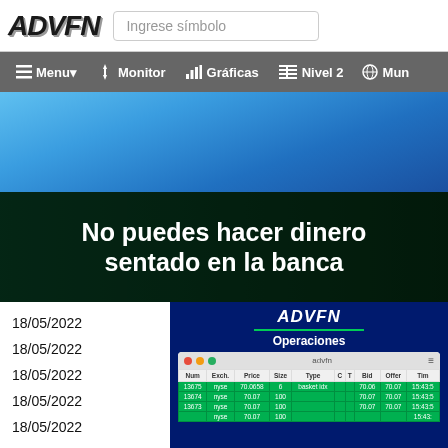ADVFN — Ingrese símbolo
[Figure (screenshot): ADVFN navigation bar with Menu, Monitor, Gráficas, Nivel 2, Mun options]
[Figure (screenshot): Blue advertisement banner area]
[Figure (photo): Sports/soccer advertisement banner with text: No puedes hacer dinero sentado en la banca]
| Dates |
| --- |
| 18/05/2022 |
| 18/05/2022 |
| 18/05/2022 |
| 18/05/2022 |
| 18/05/2022 |
[Figure (screenshot): ADVFN Operaciones widget showing a table with columns Num, Exch., Price, Size, Type, C, T, Bid, Offer, Tim and rows of NYSE trading data including 13675 nyse 70.0658 basket idx, 13674 nyse 70.07 100, 13673 nyse 70.07 100]